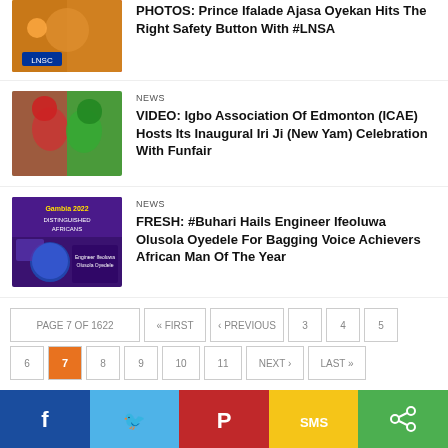[Figure (photo): Person wearing LNSC vest, partially visible at top]
PHOTOS: Prince Ifalade Ajasa Oyekan Hits The Right Safety Button With #LNSA
[Figure (photo): Two people in colorful African attire at an outdoor event]
NEWS
VIDEO: Igbo Association Of Edmonton (ICAE) Hosts Its Inaugural Iri Ji (New Yam) Celebration With Funfair
[Figure (photo): Promotional flyer for Gambia 2023 - Honored Distinguished Africans featuring Engineer Ifeoluwa Olusola Oyedele]
NEWS
FRESH: #Buhari Hails Engineer Ifeoluwa Olusola Oyedele For Bagging Voice Achievers African Man Of The Year
PAGE 7 OF 1622  « FIRST  ‹ PREVIOUS  3  4  5  6  7  8  9  10  11  NEXT ›  LAST »